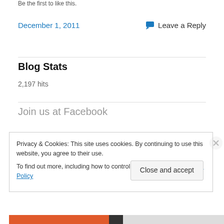Be the first to like this.
December 1, 2011
Leave a Reply
Blog Stats
2,197 hits
Join us at Facebook
Privacy & Cookies: This site uses cookies. By continuing to use this website, you agree to their use.
To find out more, including how to control cookies, see here: Cookie Policy
Close and accept